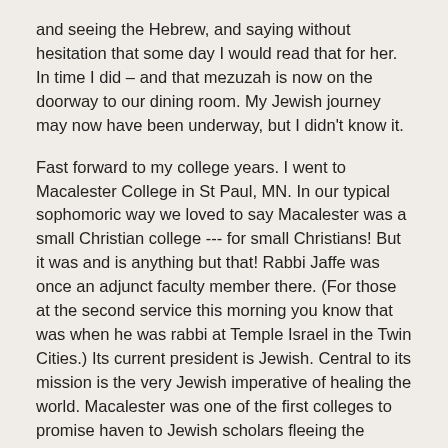and seeing the Hebrew, and saying without hesitation that some day I would read that for her. In time I did – and that mezuzah is now on the doorway to our dining room. My Jewish journey may now have been underway, but I didn't know it.
Fast forward to my college years. I went to Macalester College in St Paul, MN. In our typical sophomoric way we loved to say Macalester was a small Christian college --- for small Christians! But it was and is anything but that! Rabbi Jaffe was once an adjunct faculty member there. (For those at the second service this morning you know that was when he was rabbi at Temple Israel in the Twin Cities.) Its current president is Jewish. Central to its mission is the very Jewish imperative of healing the world. Macalester was one of the first colleges to promise haven to Jewish scholars fleeing the impending Holocaust. Some of my professors were those transplanted scholars. One, our political science professor, was the guru for Hubert Humphrey, Walter Mondale, and Eugene McCarthy, all of whom were around. Kofi Annan is a graduate. I